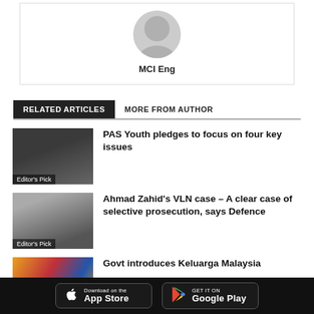[Figure (illustration): Author avatar placeholder (grey person silhouette) above the name MCI Eng]
MCI Eng
RELATED ARTICLES
MORE FROM AUTHOR
[Figure (photo): Photo of a man speaking at a podium, labelled Editor's Pick]
PAS Youth pledges to focus on four key issues
[Figure (photo): Photo of a man in a mask outside a building, labelled Editor's Pick]
Ahmad Zahid's VLN case – A clear case of selective prosecution, says Defence
[Figure (photo): Photo with colourful Malaysian flags]
Govt introduces Keluarga Malaysia
[Figure (screenshot): Footer with App Store and Google Play download buttons on dark background]